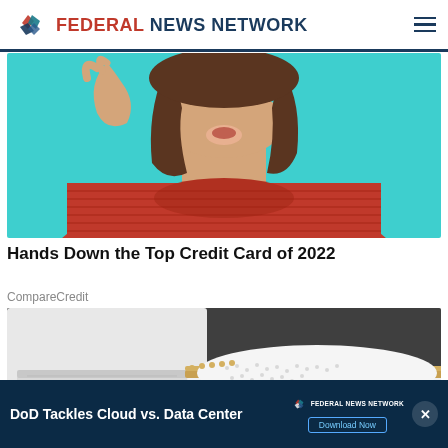FEDERAL NEWS NETWORK
[Figure (photo): Woman in red ribbed sweater against teal/turquoise background, cropped at chin, hand raised]
Hands Down the Top Credit Card of 2022
CompareCredit
[Figure (photo): Close-up of person wearing white jeans and white sneaker/slip-on shoe with tan/gold stripe detail, on dark pavement]
[Figure (screenshot): Ad banner: DoD Tackles Cloud vs. Data Center - Federal News Network - Download Now button]